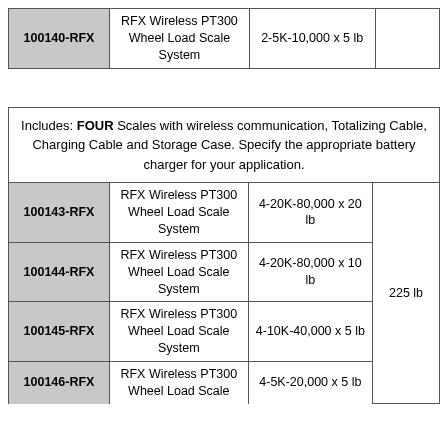| Item Code | Description | Range | Weight |
| --- | --- | --- | --- |
| 100140-RFX | RFX Wireless PT300 Wheel Load Scale System | 2-5K-10,000 x 5 lb |  |
| Includes | Item Code | Description | Range | Weight |
| --- | --- | --- | --- | --- |
| Includes: FOUR Scales with wireless communication, Totalizing Cable, Charging Cable and Storage Case. Specify the appropriate battery charger for your application. |  |  |  |  |
|  | 100143-RFX | RFX Wireless PT300 Wheel Load Scale System | 4-20K-80,000 x 20 lb | 225 lb |
|  | 100144-RFX | RFX Wireless PT300 Wheel Load Scale System | 4-20K-80,000 x 10 lb | 225 lb |
|  | 100145-RFX | RFX Wireless PT300 Wheel Load Scale System | 4-10K-40,000 x 5 lb | 225 lb |
|  | 100146-RFX | RFX Wireless PT300 Wheel Load Scale System | 4-5K-20,000 x 5 lb | 225 lb |